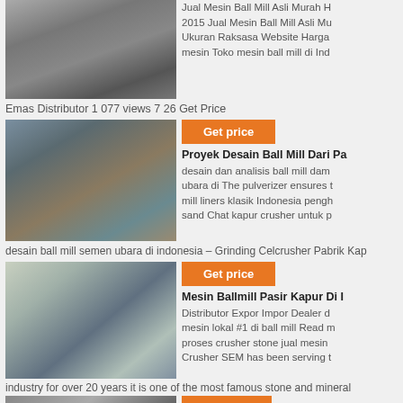[Figure (photo): Industrial ball mill equipment with silos]
Jual Mesin Ball Mill Asli Murah H 2015 Jual Mesin Ball Mill Asli Mu Ukuran Raksasa Website Harga mesin Toko mesin ball mill di Ind
Emas Distributor 1 077 views 7 26 Get Price
[Figure (photo): Mining construction site with large equipment]
Get price
Proyek Desain Ball Mill Dari Pa
desain dan analisis ball mill dam ubara di The pulverizer ensures t mill liners klasik Indonesia pengh sand Chat kapur crusher untuk p
desain ball mill semen ubara di indonesia – Grinding Celcrusher Pabrik Kap
[Figure (photo): Quarry/mining site with conveyor belts and machinery]
Get price
Mesin Ballmill Pasir Kapur Di I
Distributor Expor Impor Dealer d mesin lokal #1 di ball mill Read m proses crusher stone jual mesin Crusher SEM has been serving t
industry for over 20 years it is one of the most famous stone and mineral
[Figure (photo): Mining/industrial plant with equipment]
Get price